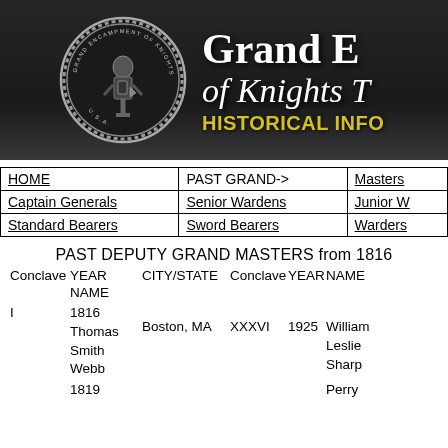[Figure (logo): Banner with Grand Encampment of Knights Templar of the USA seal/logo on dark background with text 'Grand E... of Knights T...' and 'HISTORICAL INFO...' in yellow]
| HOME | PAST GRAND-> | Masters |
| --- | --- | --- |
| Captain Generals | Senior Wardens | Junior W |
| Standard Bearers | Sword Bearers | Warders |
PAST DEPUTY GRAND MASTERS from 1816
Conclave  YEAR NAME  CITY/STATE  Conclave  YEAR  NAME
I  1816 Thomas Smith Webb  Boston, MA  XXXVI  1925  William Leslie Sharp
1819  Perry